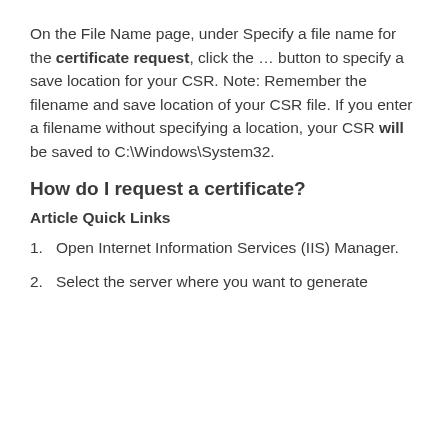On the File Name page, under Specify a file name for the certificate request, click the … button to specify a save location for your CSR. Note: Remember the filename and save location of your CSR file. If you enter a filename without specifying a location, your CSR will be saved to C:\Windows\System32.
How do I request a certificate?
Article Quick Links
Open Internet Information Services (IIS) Manager.
Select the server where you want to generate the certificate.